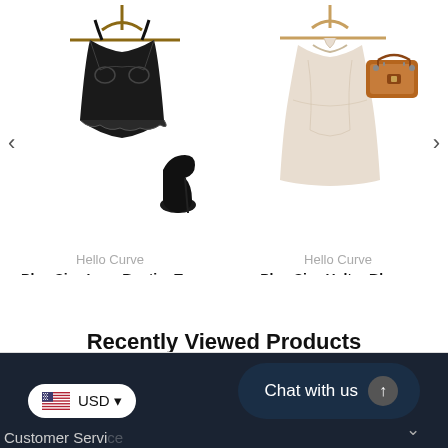[Figure (photo): Product photo of Hello Curve Plus Size Lace Bustier Top in black lace with black high-heel shoe accessory on hanger]
[Figure (photo): Product photo of Hello Curve Plus Size Halter Blouse in cream/ivory with brown handbag accessory on hanger]
Hello Curve
Plus Size Lace Bustier Top
$59.90
Hello Curve
Plus Size Halter Blouse
$46.90
Recently Viewed Products
Your viewing history
USD
Chat with us
Customer Service